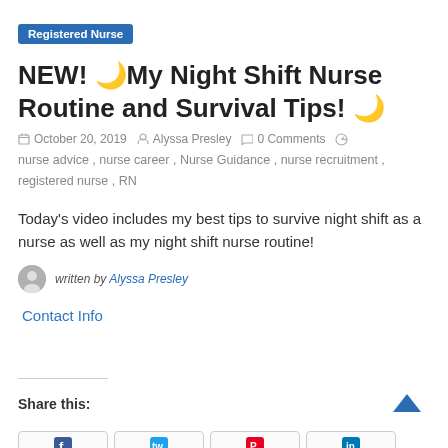Registered Nurse
NEW! 🌙My Night Shift Nurse Routine and Survival Tips! 🌙
October 20, 2019   Alyssa Presley   0 Comments
nurse advice , nurse career , Nurse Guidance , nurse recruitment , registered nurse , RN
Today's video includes my best tips to survive night shift as a nurse as well as my night shift nurse routine!
written by Alyssa Presley
Contact Info
Share this: